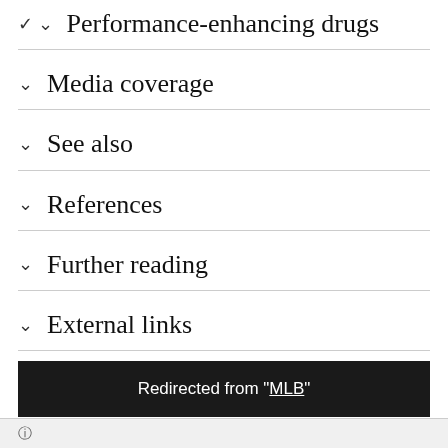Performance-enhancing drugs
Media coverage
See also
References
Further reading
External links
Redirected from "MLB"